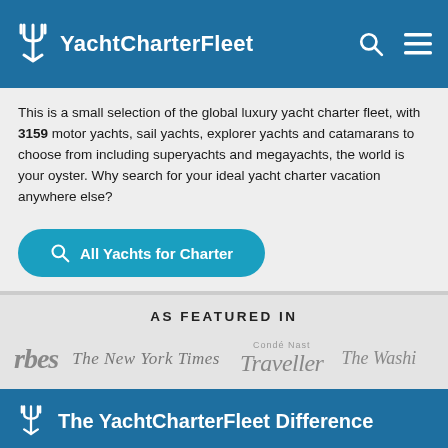YachtCharterFleet
This is a small selection of the global luxury yacht charter fleet, with 3159 motor yachts, sail yachts, explorer yachts and catamarans to choose from including superyachts and megayachts, the world is your oyster. Why search for your ideal yacht charter vacation anywhere else?
All Yachts for Charter
AS FEATURED IN
[Figure (logo): Logos of media outlets: Forbes, The New York Times, Condé Nast Traveller, The Washington Post]
The YachtCharterFleet Difference
YachtCharterFleet makes it easy to find the yacht charter vacation that is right for you. We combine thousands of yacht